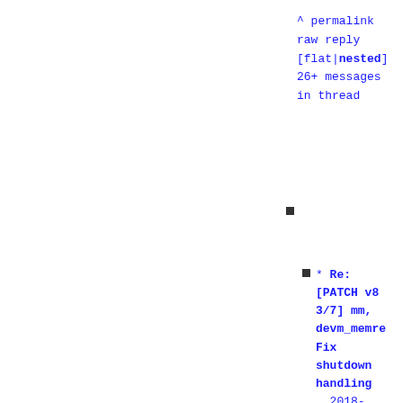^ permalink
raw reply
[flat|nested]
26+ messages
in thread
* Re: [PATCH v8 3/7] mm, devm_memremap Fix shutdown handling 2018-11-30 22:19 ` Logan Gunthorpe @ 2018-11-30 22:28 ` Dan Williams 2018-11-30 22:34 ` Logan Gunthorpe